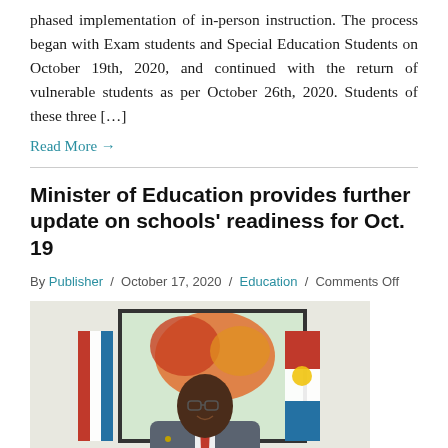phased implementation of in-person instruction. The process began with Exam students and Special Education Students on October 19th, 2020, and continued with the return of vulnerable students as per October 26th, 2020. Students of these three […]
Read More →
Minister of Education provides further update on schools' readiness for Oct. 19
By Publisher / October 17, 2020 / Education / Comments Off
[Figure (photo): A man in a grey suit with a red tie stands in front of a painting and flags, smiling at the camera.]